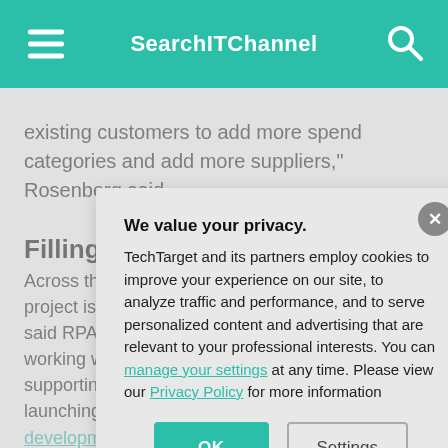SearchITChannel
existing customers to add more spend categories and add more suppliers," Rosenberg said.
Filling the talent gap
Across those processes, the nature of the typical project is likely to... said RPA consul... working with cus... supporting RPA.... launching autom... development, as... automation expe... assistance. Le C... integrators and c... gap, and will con... up their automat...
We value your privacy. TechTarget and its partners employ cookies to improve your experience on our site, to analyze traffic and performance, and to serve personalized content and advertising that are relevant to your professional interests. You can manage your settings at any time. Please view our Privacy Policy for more information